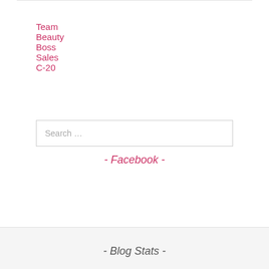Team Beauty Boss Sales C-20
Search …
[Figure (other): WordPress Follow button: Follow Welcome To Avon Beauty Bosses]
- Facebook -
- Blog Stats -